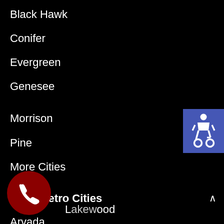Black Hawk
Conifer
Evergreen
Genesee
Morrison
Pine
More Cities
[Figure (illustration): Blue square accessibility icon with wheelchair symbol]
West Metro Cities
Arvada
Golden
Lakewood (partially obscured)
[Figure (illustration): Red circular phone/call button with white phone handset icon]